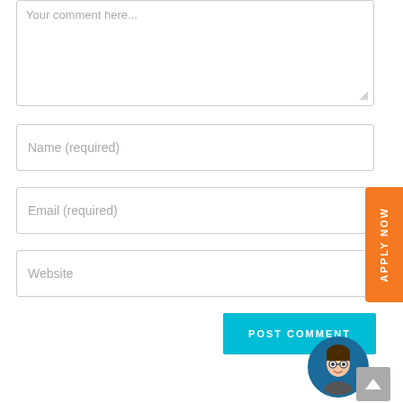[Figure (screenshot): Comment form textarea with placeholder text 'Your comment here...' and resize handle]
Name (required)
Email (required)
Website
[Figure (infographic): Orange 'APPLY NOW' vertical badge on the right side]
POST COMMENT
[Figure (photo): Circular avatar photo of a person with glasses on blue background]
[Figure (infographic): Gray scroll-to-top button with upward arrow]